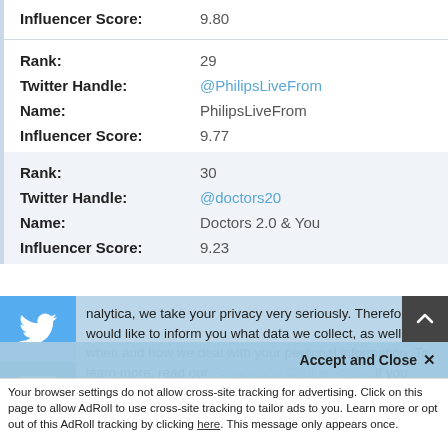Influencer Score: 9.80
Rank: 29
Twitter Handle: @PhilipsLiveFrom
Name: PhilipsLiveFrom
Influencer Score: 9.77
Rank: 30
Twitter Handle: @doctors20
Name: Doctors 2.0 & You
Influencer Score: 9.23
analytica, we take your privacy very seriously. Therefore we would like to inform you what data we collect, as well as when and how we deal with your personal information. To learn more, read our Privacy and Cookie Policy. If you have any questions, don't hesitate to contact us.
Accept and Close ✕
Your browser settings do not allow cross-site tracking for advertising. Click on this page to allow AdRoll to use cross-site tracking to tailor ads to you. Learn more or opt out of this AdRoll tracking by clicking here. This message only appears once.